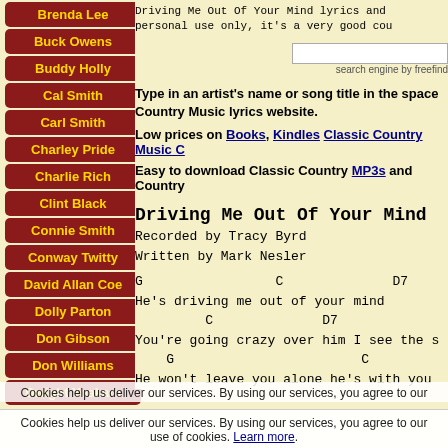Brenda Lee
Buck Owens
Buddy Holly
Cal Smith
Carl Smith
Charley Pride
Charlie Rich
Clint Black
Connie Smith
Conway Twitty
David Allan Coe
Dolly Parton
Don Gibson
Don Williams
Dwight Yoakam
Driving Me Out Of Your Mind lyrics and personal use only, it's a very good cou
search engine by freefind
Type in an artist's name or song title in the space Country Music lyrics website.
Low prices on Books, Kindles Classic Country Music C
Easy to download Classic Country MP3s and Country
Driving Me Out Of Your Mind
Recorded by Tracy Byrd
Written by Mark Nesler
G                 C              D7
He's driving me out of your mind
         C              D7
You're going crazy over him I see the s
    G                        C
He won't leave you alone he's with you
Cookies help us deliver our services. By using our services, you agree to our use of cookies. Learn more.